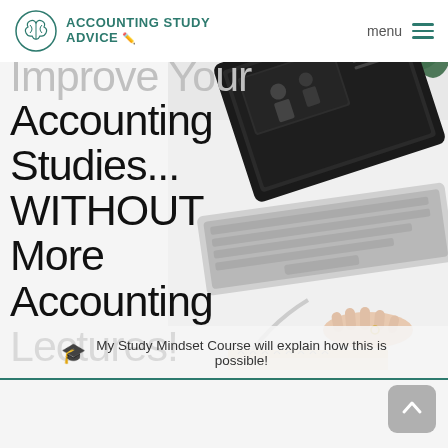ACCOUNTING STUDY ADVICE
Improve Your Accounting Studies... WITHOUT More Accounting Lectures!
[Figure (photo): Overhead/angled view of an open laptop on a white desk, person's hand on keyboard, green plant in background, white background]
My Study Mindset Course will explain how this is possible!